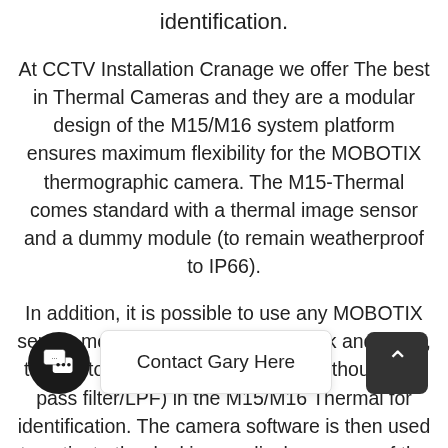identification.
At CCTV Installation Cranage we offer The best in Thermal Cameras and they are a modular design of the M15/M16 system platform ensures maximum flexibility for the MOBOTIX thermographic camera. The M15-Thermal comes standard with a thermal image sensor and a dummy module (to remain weatherproof to IP66).
In addition, it is possible to use any MOBOTIX sensor modules (6 MP, color or black and white, telephoto to Hemispheric, with or without long-pass filter/LPF) in the M15/M16 Thermal for identification. The camera software is then used to activate the dual image display on one of the two image sensors (thermal or d... ously. Contact CCTV ation Cranage to learn more about the Thermal Image Camera Installations.